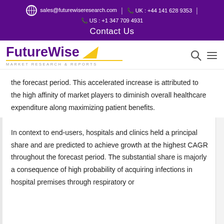sales@futurewiseresearch.com | UK : +44 141 628 9353 | US : +1 347 709 4931
Contact Us
[Figure (logo): FutureWise Market Research & Reports logo with yellow arrow and search/menu icons]
the forecast period. This accelerated increase is attributed to the high affinity of market players to diminish overall healthcare expenditure along maximizing patient benefits.

In context to end-users, hospitals and clinics held a principal share and are predicted to achieve growth at the highest CAGR throughout the forecast period. The substantial share is majorly a consequence of high probability of acquiring infections in hospital premises through respiratory or